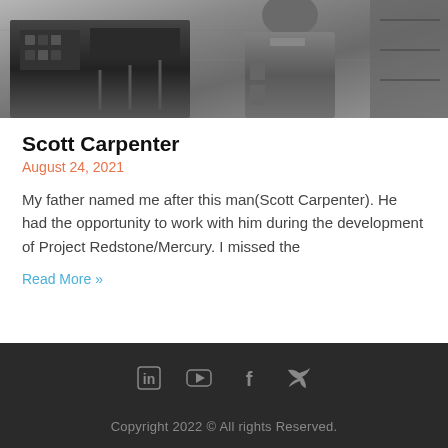[Figure (photo): Black and white photo of a man in a uniform, likely a military or space program jumpsuit, standing in front of equipment and machinery.]
Scott Carpenter
August 24, 2021
My father named me after this man(Scott Carpenter). He had the opportunity to work with him during the development of Project Redstone/Mercury. I missed the
Read More »
Copyright 2022 © All rights Reserved.